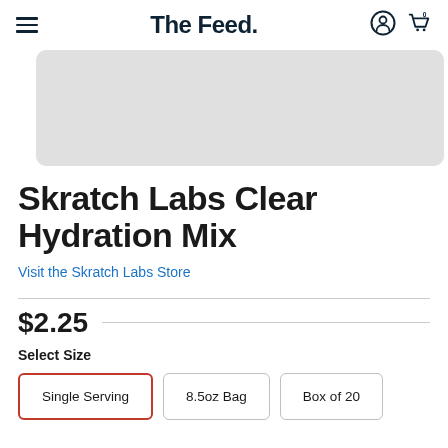The Feed.
[Figure (photo): Product image placeholder - light gray rectangle]
Skratch Labs Clear Hydration Mix
Visit the Skratch Labs Store
$2.25
Select Size
Single Serving | 8.5oz Bag | Box of 20